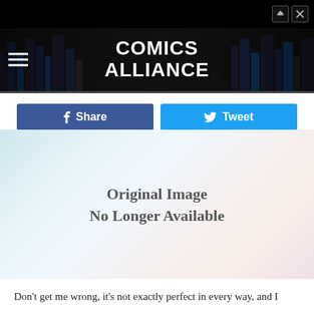Comics Alliance
[Figure (screenshot): Comics Alliance website header banner with city skyline background and hamburger menu icon]
[Figure (other): Facebook Share button (dark blue) and Twitter Tweet button (light blue)]
[Figure (photo): Original Image No Longer Available placeholder with light blue/pink gradient background]
Don't get me wrong, it's not exactly perfect in every way, and I